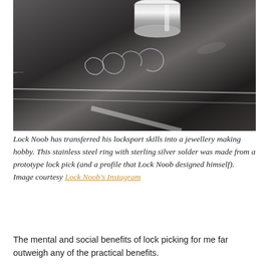[Figure (photo): Close-up photo of a metallic surface (dark steel/metal table) with a stainless steel ring or cylindrical metal object at the top. Cursive or script-style metal cutout lettering is visible on the reflective surface. Diagonal white lines cross the lower portion of the image.]
Lock Noob has transferred his locksport skills into a jewellery making hobby. This stainless steel ring with sterling silver solder was made from a prototype lock pick (and a profile that Lock Noob designed himself). Image courtesy Lock Noob's Instagram
The mental and social benefits of lock picking for me far outweigh any of the practical benefits.